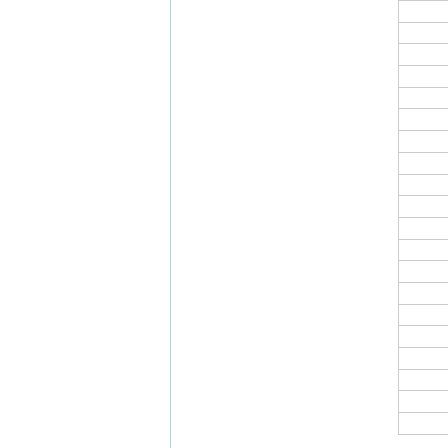| ID | Type |
| --- | --- |
| 1220 | COMPA |
| 1221 | COMPA |
| 1222 | COMPA |
| 1223 | COMPA |
| 1224 | COMPA |
| 1225 | COMPA |
| 1226 | COMPA |
| 1227 | COMPA |
| 1228 | COMPA |
| 1229 | COMPA |
| 1230 | COMPA |
| 1231 | COMPA |
| 1232 | COMPA |
| 1233 | COMPA |
| 1234 | COMPA |
| 1235 | COMPA |
| 1236 | COMPA |
| 1237 | COMPA |
| 1238 | COMPA |
| 1239 | COMPA |